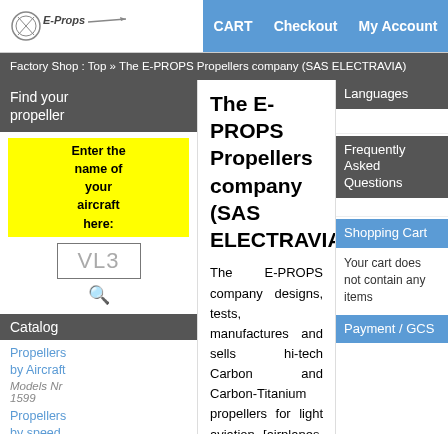E-Props logo | CART | Checkout | My Account
Factory Shop : Top » The E-PROPS Propellers company (SAS ELECTRAVIA)
Find your propeller
Enter the name of your aircraft here:
VL3
Catalog
Propellers by Aircraft Models Nr 1599
Propellers by speed 3055
The E-PROPS Propellers company (SAS ELECTRAVIA)
The E-PROPS company designs, tests, manufactures and sells hi-tech Carbon and Carbon-Titanium propellers for light aviation [airplanes, LSA, ultralights, delta trikes, gyros, paramotors, paratrikes, VTOL, multicopters, drones], and other carbon aeronautical parts.
Languages
Frequently Asked Questions
Shopping Cart
Your cart does not contain any items
Payment / GCS